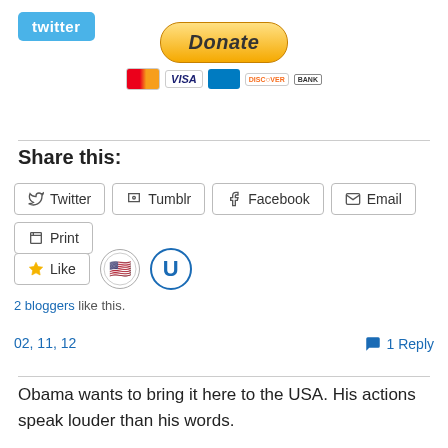[Figure (logo): Twitter logo button, blue background with white 'twitter' text]
[Figure (other): PayPal Donate button with payment card icons (Mastercard, VISA, Amex, Discover, Bank)]
Share this:
[Figure (infographic): Share buttons: Twitter, Tumblr, Facebook, Email, Print]
[Figure (infographic): Like button with star icon, two blogger avatars (flag/heart icon and U circle icon)]
2 bloggers like this.
02, 11, 12
1 Reply
Obama wants to bring it here to the USA. His actions speak louder than his words.